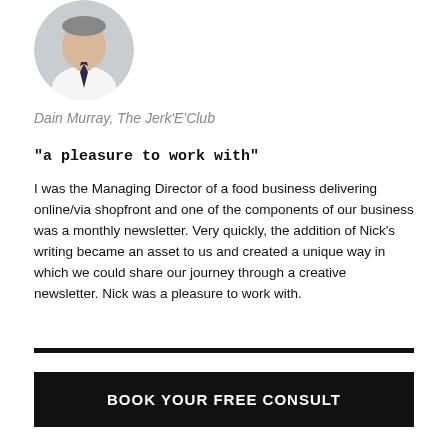[Figure (photo): Circular cropped photo of a man in a white shirt and dark tie, from shoulders up, on a light background.]
Dain Murray, The Jerk'E'Club
"a pleasure to work with"
I was the Managing Director of a food business delivering online/via shopfront and one of the components of our business was a monthly newsletter. Very quickly, the addition of Nick's writing became an asset to us and created a unique way in which we could share our journey through a creative newsletter. Nick was a pleasure to work with.
BOOK YOUR FREE CONSULT